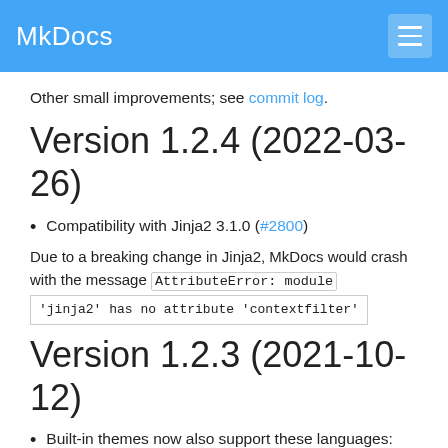MkDocs
Other small improvements; see commit log.
Version 1.2.4 (2022-03-26)
Compatibility with Jinja2 3.1.0 (#2800)
Due to a breaking change in Jinja2, MkDocs would crash with the message AttributeError: module 'jinja2' has no attribute 'contextfilter'
Version 1.2.3 (2021-10-12)
Built-in themes now also support these languages:
Simplified Chinese (#2497)
Japanese (#2525)
Brazilian Portuguese (#2535)
Spanish (#2545 and #2306)